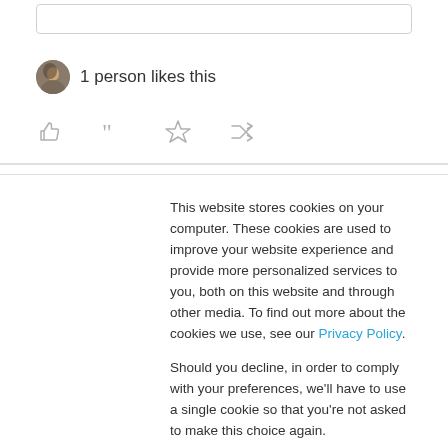[Figure (other): Empty input/search box with rounded border at top of page]
1 person likes this
[Figure (other): Row of four social action icons: thumbs up, quotation mark, star, shuffle/share]
This website stores cookies on your computer. These cookies are used to improve your website experience and provide more personalized services to you, both on this website and through other media. To find out more about the cookies we use, see our Privacy Policy.

Should you decline, in order to comply with your preferences, we'll have to use a single cookie so that you're not asked to make this choice again.
[Figure (other): Accept (filled blue) and Decline (outlined blue) buttons for cookie consent]